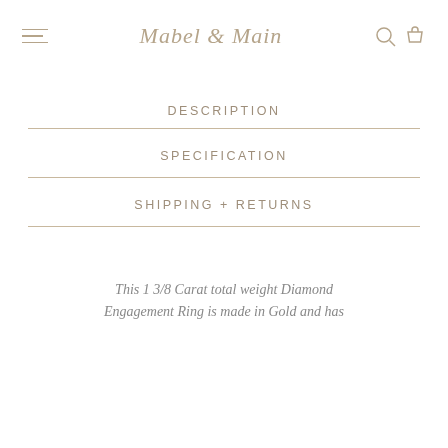Mabel & Main
DESCRIPTION
SPECIFICATION
SHIPPING + RETURNS
This 1 3/8 Carat total weight Diamond Engagement Ring is made in Gold and has